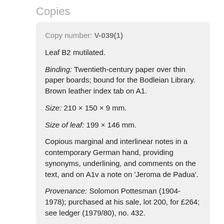Copies
Copy number: V-039(1)
Leaf B2 mutilated.
Binding: Twentieth-century paper over thin paper boards; bound for the Bodleian Library. Brown leather index tab on A1.
Size: 210 × 150 × 9 mm.
Size of leaf: 199 × 146 mm.
Copious marginal and interlinear notes in a contemporary German hand, providing synonyms, underlining, and comments on the text, and on A1v a note on 'Jeroma de Padua'.
Provenance: Solomon Pottesman (1904-1978); purchased at his sale, lot 200, for £264; see ledger (1979/80), no. 432.